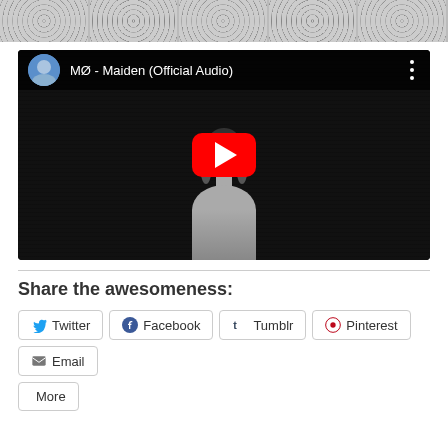[Figure (photo): Top cropped black and white dotted/textured pattern image strip]
[Figure (screenshot): YouTube embedded video player showing MØ - Maiden (Official Audio) with a black and white video thumbnail of a woman and a red play button overlay]
Share the awesomeness:
Twitter  Facebook  Tumblr  Pinterest  Email  More